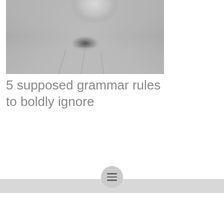[Figure (photo): Black and white portrait photograph of a person, cropped showing head and upper body]
5 supposed grammar rules to boldly ignore
Navigation menu bar with hamburger icon